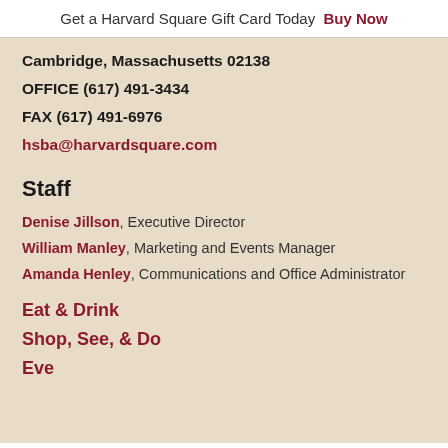Get a Harvard Square Gift Card Today  Buy Now
Cambridge, Massachusetts 02138
OFFICE (617) 491-3434
FAX (617) 491-6976
hsba@harvardsquare.com
Staff
Denise Jillson, Executive Director
William Manley, Marketing and Events Manager
Amanda Henley, Communications and Office Administrator
Eat & Drink
Shop, See, & Do
Events